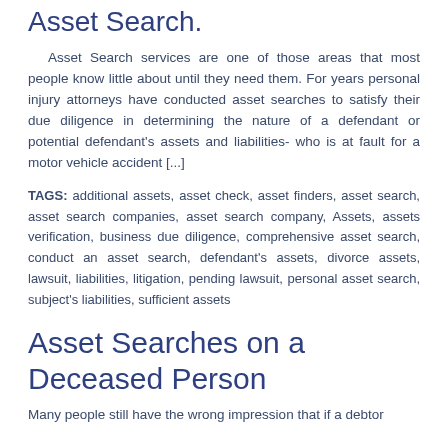Asset Search.
Asset Search services are one of those areas that most people know little about until they need them. For years personal injury attorneys have conducted asset searches to satisfy their due diligence in determining the nature of a defendant or potential defendant's assets and liabilities- who is at fault for a motor vehicle accident [...]
TAGS: additional assets, asset check, asset finders, asset search, asset search companies, asset search company, Assets, assets verification, business due diligence, comprehensive asset search, conduct an asset search, defendant's assets, divorce assets, lawsuit, liabilities, litigation, pending lawsuit, personal asset search, subject's liabilities, sufficient assets
Asset Searches on a Deceased Person
Many people still have the wrong impression that if a debtor